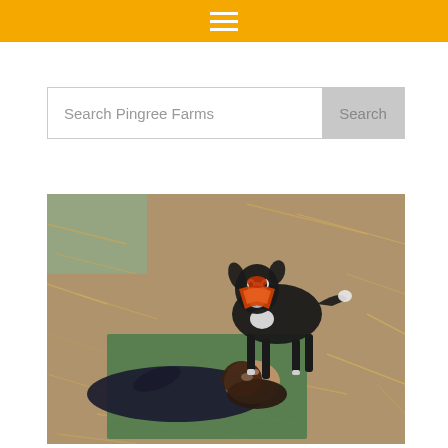Search Pingree Farms
[Figure (photo): A woman lying on her back on a yoga mat on a hay-covered floor, with a small black and white baby goat wearing an orange and red bandana standing over her face, appearing to nuzzle her nose. The setting appears to be a barn with hay scattered on the ground.]